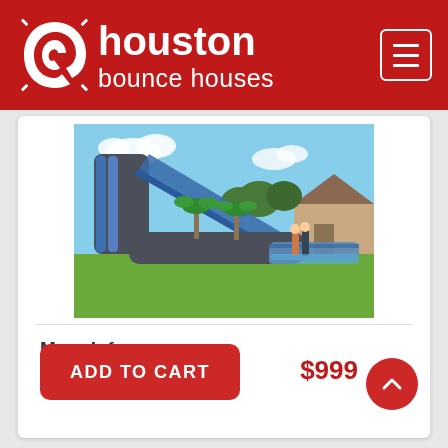houston bounce houses
[Figure (photo): Large inflatable water slide with tropical palm tree decorations and a slip-and-slide extension, set up on a green lawn outdoors on a sunny day. Two people standing near the slide for scale.]
More Info ...
ADD TO CART
$999